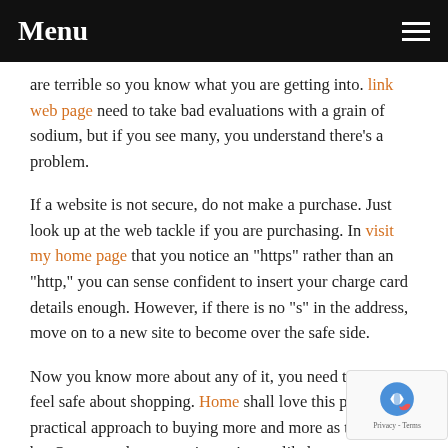Menu
are terrible so you know what you are getting into. link web page need to take bad evaluations with a grain of sodium, but if you see many, you understand there's a problem.
If a website is not secure, do not make a purchase. Just look up at the web tackle if you are purchasing. In visit my home page that you notice an "https" rather than an "http," you can sense confident to insert your charge card details enough. However, if there is no "s" in the address, move on to a new site to become over the safe side.
Now you know more about any of it, you need to online feel safe about shopping. Home shall love this particular practical approach to buying more and more as time goes by. Once you down own it, you're not likely to waste your time likely to the mall again.